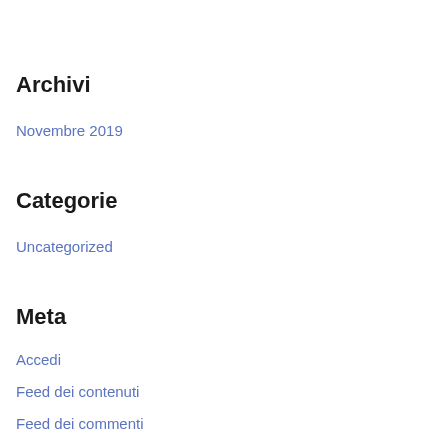Archivi
Novembre 2019
Categorie
Uncategorized
Meta
Accedi
Feed dei contenuti
Feed dei commenti
WordPress.org